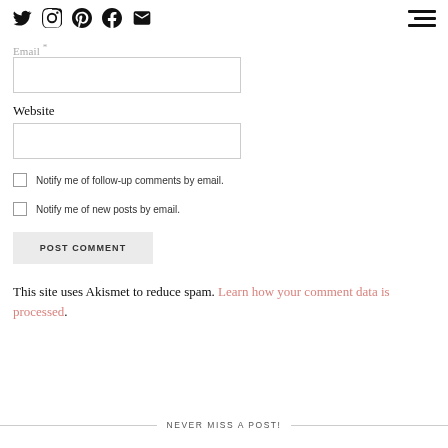Social icons nav and hamburger menu
Email *
Website
Notify me of follow-up comments by email.
Notify me of new posts by email.
POST COMMENT
This site uses Akismet to reduce spam. Learn how your comment data is processed.
NEVER MISS A POST!